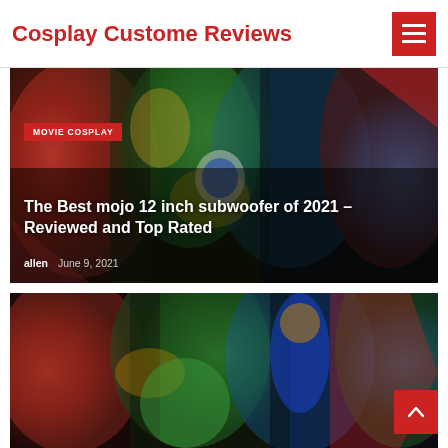Cosplay Custome Reviews
[Figure (photo): Comic book style illustration of Marvel superheroes including Hulk, Captain America, Iron Man, and others in dynamic battle poses. Overlaid with category tag 'MOVIE COSPLAY', article title 'The Best mojo 12 inch subwoofer of 2021 – Reviewed and Top Rated', and byline 'allen  June 9, 2021']
[Figure (photo): Comic book style illustration of DC and Marvel superheroes including Superman, Hulk, Iron Man and others in dynamic poses]